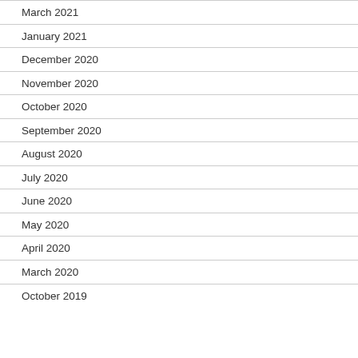March 2021
January 2021
December 2020
November 2020
October 2020
September 2020
August 2020
July 2020
June 2020
May 2020
April 2020
March 2020
October 2019